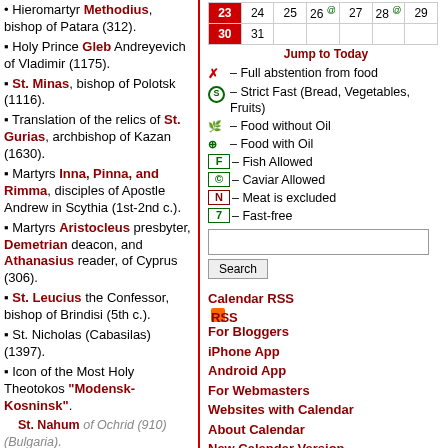Hieromartyr Methodius, bishop of Patara (312).
Holy Prince Gleb Andreyevich of Vladimir (1175).
St. Minas, bishop of Polotsk (1116).
Translation of the relics of St. Gurias, archbishop of Kazan (1630).
Martyrs Inna, Pinna, and Rimma, disciples of Apostle Andrew in Scythia (1st-2nd c.).
Martyrs Aristocleus presbyter, Demetrian deacon, and Athanasius reader, of Cyprus (306).
St. Leucius the Confessor, bishop of Brindisi (5th c.).
St. Nicholas (Cabasilas) (1397).
Icon of the Most Holy Theotokos "Modensk-Kosninsk".
St. Nahum of Ochrid (910) (Bulgaria).
St. Callistus I, patriarch of
| 23 | 24 | 25 | 26 | 27 | 28 | 29 |
| --- | --- | --- | --- | --- | --- | --- |
| 30 | 31 |  |  |  |  |  |
Jump to Today
X – Full abstention from food
S – Strict Fast (Bread, Vegetables, Fruits)
– Food without Oil
– Food with Oil
F – Fish Allowed
C – Caviar Allowed
N – Meat is excluded
7 – Fast-free
Calendar RSS | For Bloggers | iPhone App | Android App | For Webmasters | Websites with Calendar | About Calendar | New Calendar Version
| Paschalion |
| --- |
| Feb 26 – Sunday of the Publican and Pharisee |